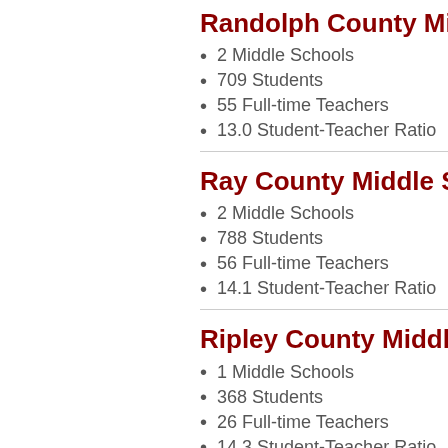Randolph County Middle Schools
2 Middle Schools
709 Students
55 Full-time Teachers
13.0 Student-Teacher Ratio
Ray County Middle Schools
2 Middle Schools
788 Students
56 Full-time Teachers
14.1 Student-Teacher Ratio
Ripley County Middle Schools
1 Middle Schools
368 Students
26 Full-time Teachers
14.3 Student-Teacher Ratio
Saline County Middle Schools
1 Middle Schools
687 Students
47 Full-time Teachers
14.5 Student-Teacher Ratio